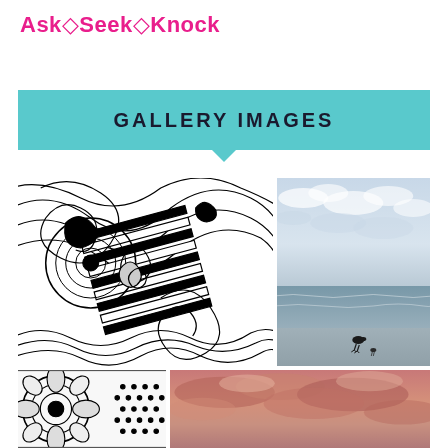Ask◇Seek◇Knock
GALLERY IMAGES
[Figure (illustration): Black and white zentangle / doodle art with intricate patterns including swirls, piano keys, and abstract shapes]
[Figure (photo): Beach scene at dusk with cloudy sky, ocean waves, and a bird standing on wet sand]
[Figure (illustration): Black and white zentangle art with floral and circular patterns]
[Figure (photo): Sunset or sunrise sky with pink and coral clouds]